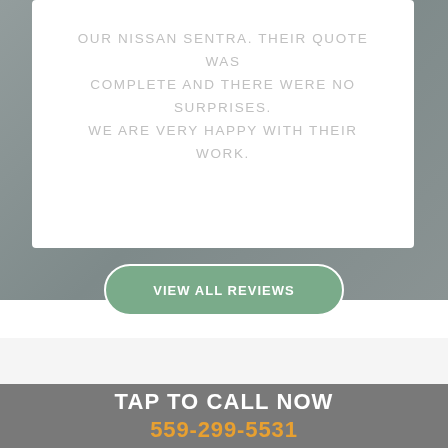OUR NISSAN SENTRA. THEIR QUOTE WAS COMPLETE AND THERE WERE NO SURPRISES. WE ARE VERY HAPPY WITH THEIR WORK.
VIEW ALL REVIEWS
X
TAP TO CALL NOW
559-299-5531